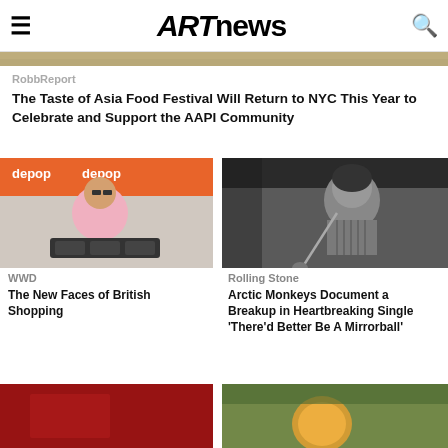ARTnews
[Figure (photo): Partial top image strip showing warm-toned background]
RobbReport
The Taste of Asia Food Festival Will Return to NYC This Year to Celebrate and Support the AAPI Community
[Figure (photo): A DJ (woman in pink top) performing at a Depop-branded event with DJ equipment]
WWD
The New Faces of British Shopping
[Figure (photo): Black and white photo of a young person singing into a microphone]
Rolling Stone
Arctic Monkeys Document a Breakup in Heartbreaking Single 'There'd Better Be A Mirrorball'
[Figure (photo): Bottom-left partial image with red background]
[Figure (photo): Bottom-right partial image with outdoor/nature tones]